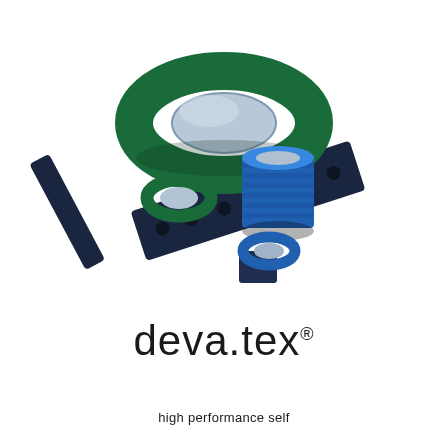[Figure (photo): Product photo showing various deva.tex bearing components: a large green-coated cylindrical bearing ring, a smaller green ring, a blue cylindrical sleeve bearing, a small blue ring, a flat dark rectangular pad/slider, a long dark flat strip with holes, and a small dark square pad — all arranged on a white background.]
deva.tex®
high performance self